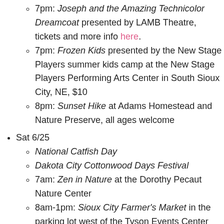7pm: Joseph and the Amazing Technicolor Dreamcoat presented by LAMB Theatre, tickets and more info here.
7pm: Frozen Kids presented by the New Stage Players summer kids camp at the New Stage Players Performing Arts Center in South Sioux City, NE, $10
8pm: Sunset Hike at Adams Homestead and Nature Preserve, all ages welcome
Sat 6/25
National Catfish Day
Dakota City Cottonwood Days Festival
7am: Zen in Nature at the Dorothy Pecaut Nature Center
8am-1pm: Sioux City Farmer's Market in the parking lot west of the Tyson Events Center